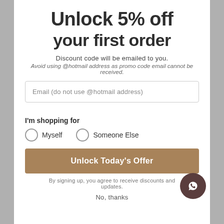Unlock 5% off your first order
Discount code will be emailed to you.
Avoid using @hotmail address as promo code email cannot be received.
Email (do not use @hotmail address)
I'm shopping for
Myself
Someone Else
Unlock Today's Offer
By signing up, you agree to receive discounts and updates.
No, thanks